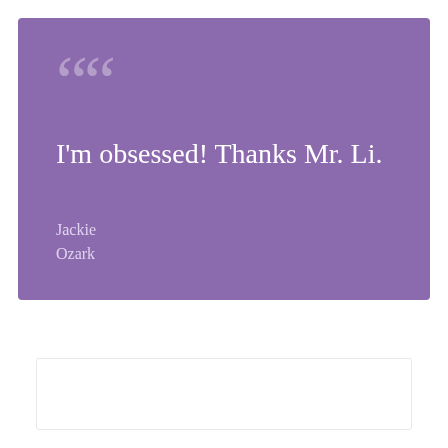““
I'm obsessed! Thanks Mr. Li.
Jackie
Ozark